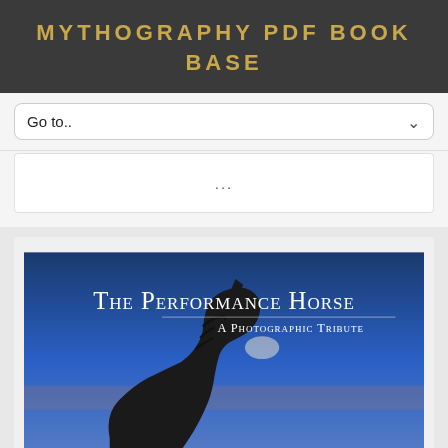MYTHOGRAPHY PDF BOOK BASE
Go to..
...
[Figure (illustration): Book cover of 'The Performance Horse: A Photographic Tribute', showing a silhouette of a horse's head against a blue sky background. White serif text reads 'The Performance Horse' with subtitle 'A Photographic Tribute'.]